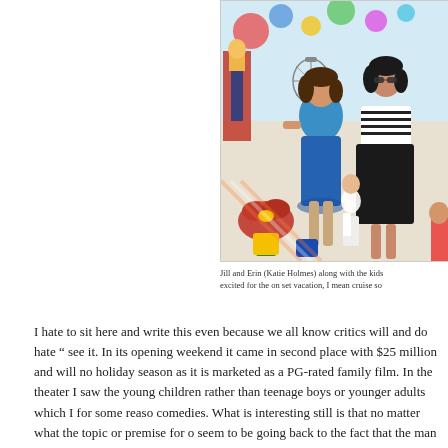[Figure (photo): Two women standing together at a colorful holiday event setting with children, red poinsettia flowers, and festive decorations. One woman wears a blue floral top and blue skirt, the other wears a black and white striped dress and sunglasses.]
Jill and Erin (Katie Holmes) along with the kids excited for the on set vacation, I mean cruise so
I hate to sit here and write this even because we all know critics will and do hate “ see it. In its opening weekend it came in second place with $25 million and will no holiday season as it is marketed as a PG-rated family film. In the theater I saw the young children rather than teenage boys or younger adults which I for some reaso comedies. What is interesting still is that no matter what the topic or premise for o seem to be going back to the fact that the man is now a parody of himself. That he character of "Funny People" but without the incentive of a life threatening disease has become. Sandler no longer seems interested in genuinely making an audienc machine, no, instead he has become an integral part of it. It is as if after "Funn